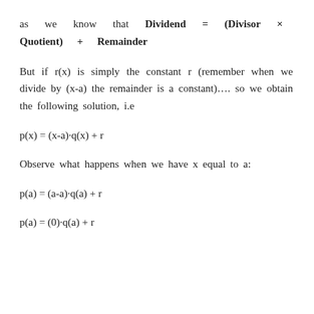as we know that Dividend = (Divisor × Quotient) + Remainder
But if r(x) is simply the constant r (remember when we divide by (x-a) the remainder is a constant)…. so we obtain the following solution, i.e
Observe what happens when we have x equal to a: